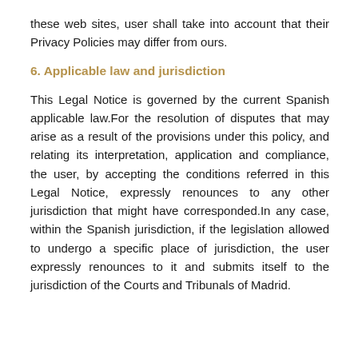these web sites, user shall take into account that their Privacy Policies may differ from ours.
6. Applicable law and jurisdiction
This Legal Notice is governed by the current Spanish applicable law.For the resolution of disputes that may arise as a result of the provisions under this policy, and relating its interpretation, application and compliance, the user, by accepting the conditions referred in this Legal Notice, expressly renounces to any other jurisdiction that might have corresponded.In any case, within the Spanish jurisdiction, if the legislation allowed to undergo a specific place of jurisdiction, the user expressly renounces to it and submits itself to the jurisdiction of the Courts and Tribunals of Madrid.